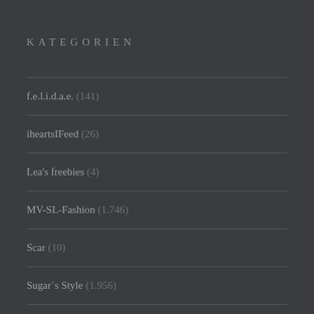KATEGORIEN
f.e.l.i.d.a.e. (141)
iheartsIFeed (26)
Lea's freebies (4)
MV-SL-Fashion (1.746)
Scar (10)
Sugar`s Style (1.956)